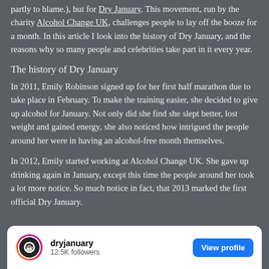partly to blame.), but for Dry January. This movement, run by the charity Alcohol Change UK, challenges people to lay off the booze for a month. In this article I look into the history of Dry January, and the reasons why so many people and celebrities take part in it every year.
The history of Dry January
In 2011, Emily Robinson signed up for her first half marathon due to take place in February. To make the training easier, she decided to give up alcohol for January. Not only did she find she slept better, lost weight and gained energy, she also noticed how intrigued the people around her were in having an alcohol-free month themselves.
In 2012, Emily started working at Alcohol Change UK. She gave up drinking again in January, except this time the people around her took a lot more notice. So much notice in fact, that 2013 marked the first official Dry January.
[Figure (other): Instagram profile card for @dryjanuary with 12.5K followers and a View profile button]